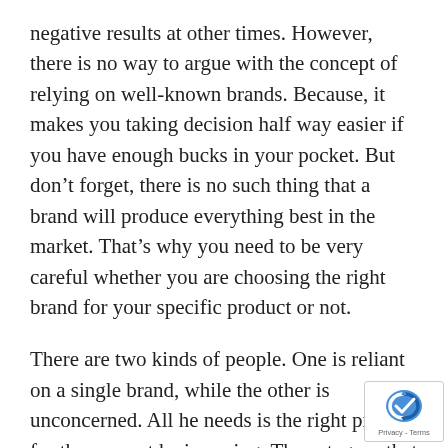negative results at other times. However, there is no way to argue with the concept of relying on well-known brands. Because, it makes you taking decision half way easier if you have enough bucks in your pocket. But don't forget, there is no such thing that a brand will produce everything best in the market. That's why you need to be very careful whether you are choosing the right brand for your specific product or not.
There are two kinds of people. One is reliant on a single brand, while the other is unconcerned. All he needs is the right product for the amount he is paying. The category that you belong maybe unknown to us.However, there are a few guidelines that may be useful to the both of you when it comes to choosing the right brand for the right…